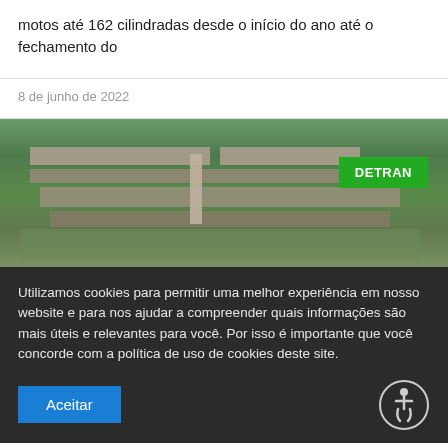motos até 162 cilindradas desde o início do ano até o fechamento do
8 de junho de 2022
[Figure (photo): Aerial view of DETRAN building complex surrounded by trees, with a green DETRAN badge overlay in the upper right corner]
Utilizamos cookies para permitir uma melhor experiência em nosso website e para nos ajudar a compreender quais informações são mais úteis e relevantes para você. Por isso é importante que você concorde com a política de uso de cookies deste site.
Aceitar